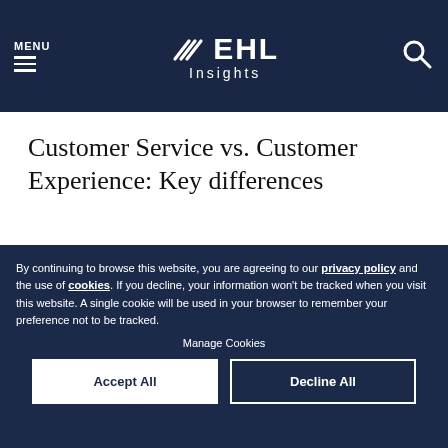MENU | EHL Insights
Customer Service vs. Customer Experience: Key differences
[Figure (photo): Partial view of a hospitality or hotel scene image, cropped at bottom]
By continuing to browse this website, you are agreeing to our privacy policy and the use of cookies. If you decline, your information won't be tracked when you visit this website. A single cookie will be used in your browser to remember your preference not to be tracked.
Manage Cookies
Accept All
Decline All